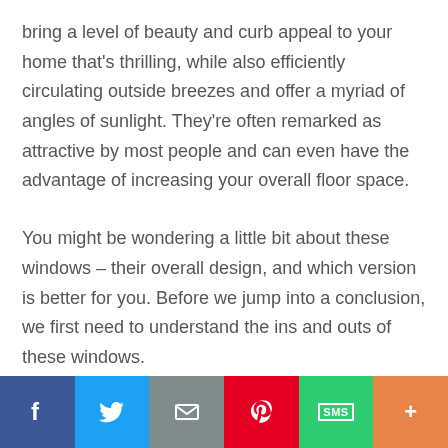bring a level of beauty and curb appeal to your home that's thrilling, while also efficiently circulating outside breezes and offer a myriad of angles of sunlight. They're often remarked as attractive by most people and can even have the advantage of increasing your overall floor space.
You might be wondering a little bit about these windows – their overall design, and which version is better for you. Before we jump into a conclusion, we first need to understand the ins and outs of these windows.
[Figure (infographic): Social sharing bar with buttons: Facebook (blue), Twitter (light blue), Email (grey), Pinterest (red), SMS (green), More/Plus (orange)]